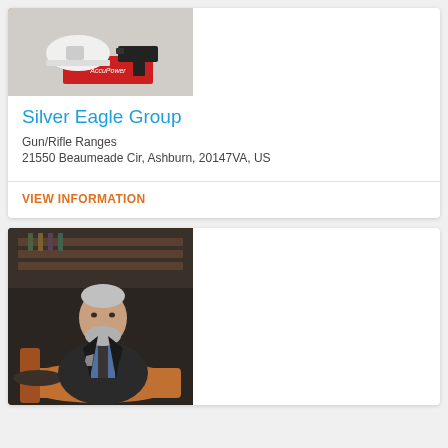[Figure (photo): Photo of a hard hat and a handgun on a red AccuPower branded box on a shooting range surface]
Silver Eagle Group
Gun/Rifle Ranges
21550 Beaumeade Cir, Ashburn, 20147VA, US
VIEW INFORMATION
[Figure (photo): Professional photo of a middle-aged man with grey beard wearing a dark suit jacket, seated in a restaurant/bar setting with leather seating and shelving in background]